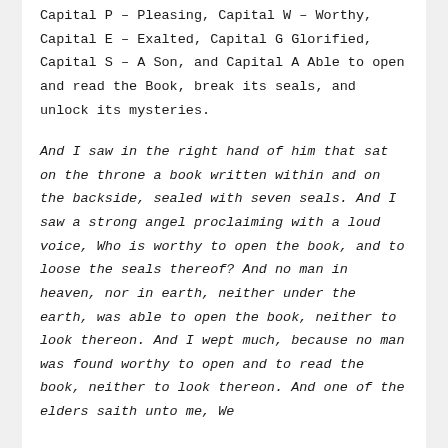Capital P – Pleasing, Capital W – Worthy, Capital E – Exalted, Capital G Glorified, Capital S – A Son, and Capital A Able to open and read the Book, break its seals, and unlock its mysteries.
And I saw in the right hand of him that sat on the throne a book written within and on the backside, sealed with seven seals. And I saw a strong angel proclaiming with a loud voice, Who is worthy to open the book, and to loose the seals thereof? And no man in heaven, nor in earth, neither under the earth, was able to open the book, neither to look thereon. And I wept much, because no man was found worthy to open and to read the book, neither to look thereon. And one of the elders saith unto me, Weep not: behold, the Lion of the